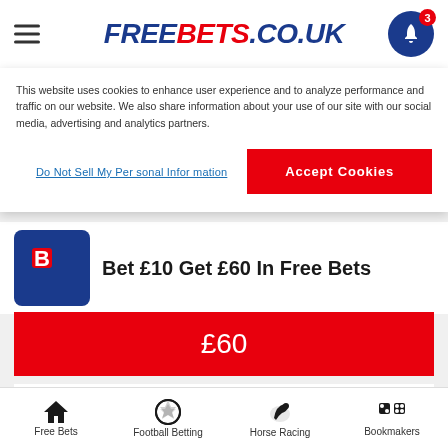FREEBETS.CO.UK
This website uses cookies to enhance user experience and to analyze performance and traffic on our website. We also share information about your use of our site with our social media, advertising and analytics partners.
Do Not Sell My Personal Information
Accept Cookies
Bet £10 Get £60 In Free Bets
£60
New UK customers only. Register using the promo code BETFRED60, deposit and place first bet of £10+ on Sports (cumulative Evens+) within 7 days of registration. First bet must be on Sports. £20 in Free Bets to be used on Sports, £10 in Free Bets to be used on Lotto and 50 Free Spins (20p per spin) credited within 48 hours of bet settlement. Further £20 in Free Bets credited 5 days after settlement.
Free Bets | Football Betting | Horse Racing | Bookmakers